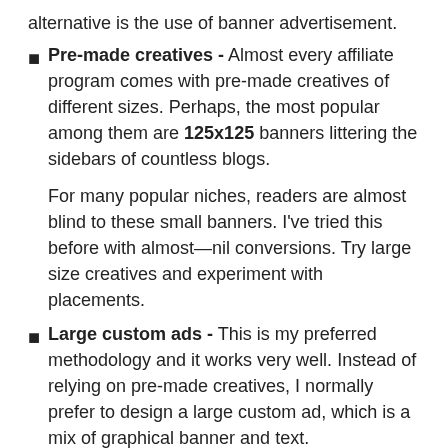alternative is the use of banner advertisement.
Pre-made creatives - Almost every affiliate program comes with pre-made creatives of different sizes. Perhaps, the most popular among them are 125x125 banners littering the sidebars of countless blogs.

For many popular niches, readers are almost blind to these small banners. I've tried this before with almost—nil conversions. Try large size creatives and experiment with placements.
Large custom ads - This is my preferred methodology and it works very well. Instead of relying on pre-made creatives, I normally prefer to design a large custom ad, which is a mix of graphical banner and text.